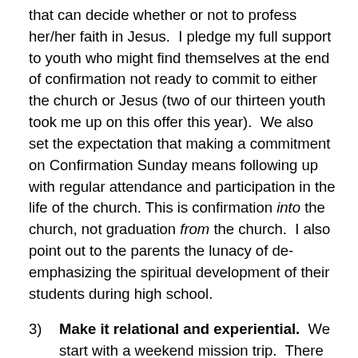that can decide whether or not to profess her/her faith in Jesus.  I pledge my full support to youth who might find themselves at the end of confirmation not ready to commit to either the church or Jesus (two of our thirteen youth took me up on this offer this year).  We also set the expectation that making a commitment on Confirmation Sunday means following up with regular attendance and participation in the life of the church.  This is confirmation into the church, not graduation from the church.  I also point out to the parents the lunacy of de-emphasizing the spiritual development of their students during high school.
3)   Make it relational and experiential.  We start with a weekend mission trip.  There is something about getting the kids in a van and driving a few hours away